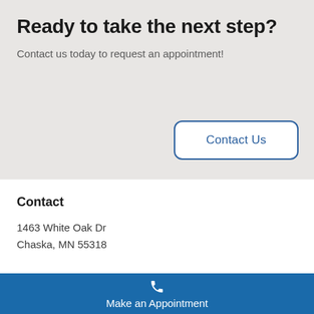Ready to take the next step?
Contact us today to request an appointment!
Contact Us
Contact
1463 White Oak Dr
Chaska, MN 55318
Make an Appointment